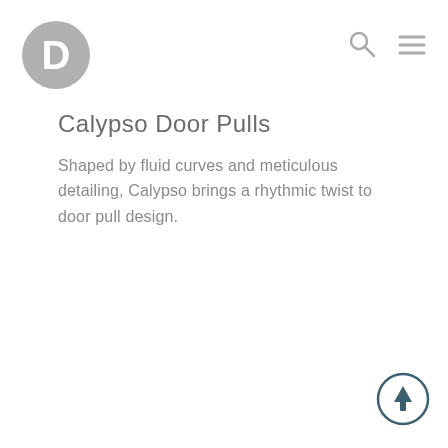D logo, search icon, menu icon
Calypso Door Pulls
Shaped by fluid curves and meticulous detailing, Calypso brings a rhythmic twist to door pull design.